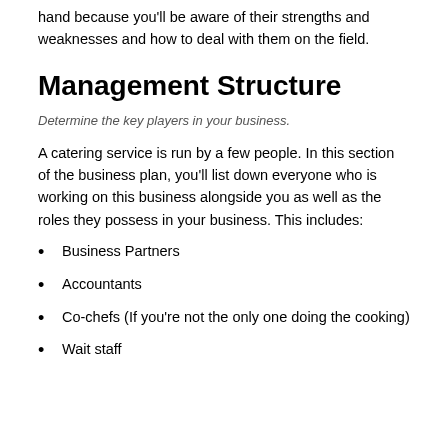hand because you'll be aware of their strengths and weaknesses and how to deal with them on the field.
Management Structure
Determine the key players in your business.
A catering service is run by a few people. In this section of the business plan, you'll list down everyone who is working on this business alongside you as well as the roles they possess in your business. This includes:
Business Partners
Accountants
Co-chefs (If you're not the only one doing the cooking)
Wait staff